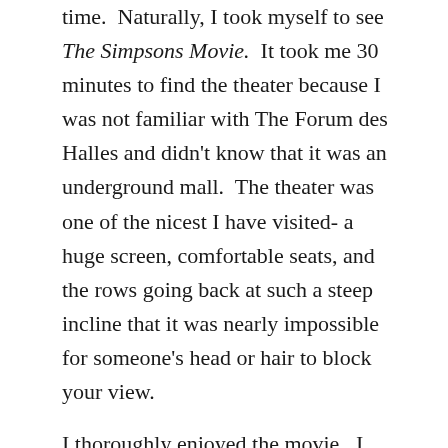time.  Naturally, I took myself to see The Simpsons Movie.  It took me 30 minutes to find the theater because I was not familiar with The Forum des Halles and didn't know that it was an underground mall.  The theater was one of the nicest I have visited- a huge screen, comfortable seats, and the rows going back at such a steep incline that it was nearly impossible for someone's head or hair to block your view.

I thoroughly enjoyed the movie.  I won't attempt to review it.  I barely judge The Simpsons these days.  I accept it as a reality, a